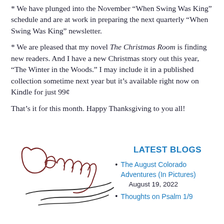* We have plunged into the November “When Swing Was King” schedule and are at work in preparing the next quarterly “When Swing Was King” newsletter.
* We are pleased that my novel The Christmas Room is finding new readers. And I have a new Christmas story out this year, “The Winter in the Woods.” I may include it in a published collection sometime next year but it’s available right now on Kindle for just 99¢
That’s it for this month. Happy Thanksgiving to you all!
[Figure (illustration): A handwritten signature reading 'Denny' with a stylized flourish below it, in dark reddish-brown ink]
LATEST BLOGS
The August Colorado Adventures (In Pictures) August 19, 2022
Thoughts on Psalm 1/9